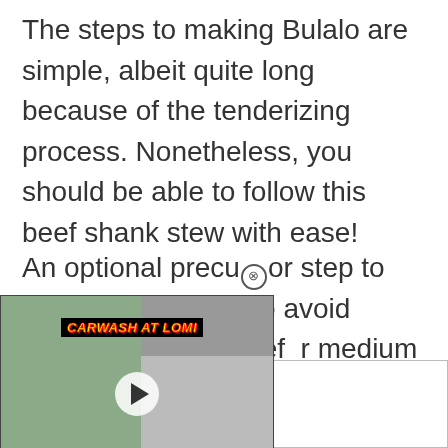The steps to making Bulalo are simple, albeit quite long because of the tenderizing process. Nonetheless, you should be able to follow this beef shank stew with ease!
An optional precursor step to making [video overlay] your meat to avoid [ad overlay] ments. Boil your beef [ad overlay] r medium heat [close X]
[Figure (screenshot): Embedded video thumbnail showing two people eating, with banner text 'CARWASH AT LOMI' in yellow italic text on black background, and a white play button triangle in the center]
skim [ad box] that accu [ad box] Afte [ad box] nd